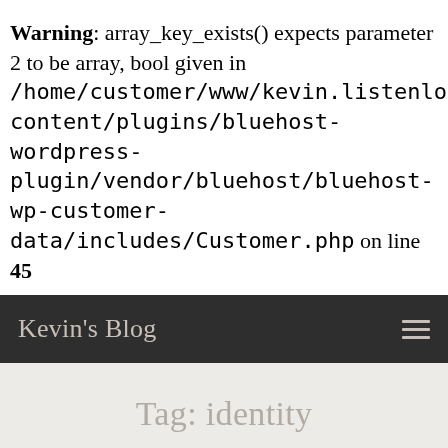Warning: array_key_exists() expects parameter 2 to be array, bool given in /home/customer/www/kevin.listenlovelead.com/pub/content/plugins/bluehost-wordpress-plugin/vendor/bluehost/bluehost-wp-customer-data/includes/Customer.php on line 45
Kevin's Blog
Tag: identity